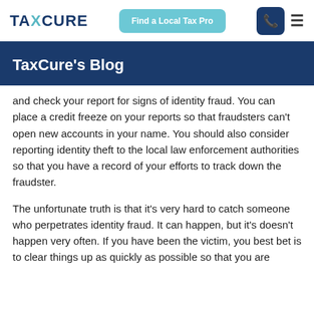TAXCURE | Find a Local Tax Pro
TaxCure's Blog
and check your report for signs of identity fraud. You can place a credit freeze on your reports so that fraudsters can't open new accounts in your name. You should also consider reporting identity theft to the local law enforcement authorities so that you have a record of your efforts to track down the fraudster.
The unfortunate truth is that it's very hard to catch someone who perpetrates identity fraud. It can happen, but it's doesn't happen very often. If you have been the victim, you best bet is to clear things up as quickly as possible so that you are